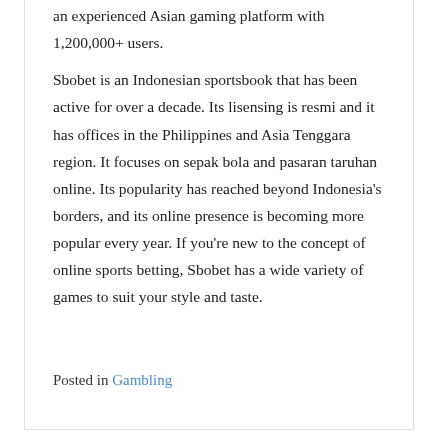an experienced Asian gaming platform with 1,200,000+ users.
Sbobet is an Indonesian sportsbook that has been active for over a decade. Its lisensing is resmi and it has offices in the Philippines and Asia Tenggara region. It focuses on sepak bola and pasaran taruhan online. Its popularity has reached beyond Indonesia's borders, and its online presence is becoming more popular every year. If you're new to the concept of online sports betting, Sbobet has a wide variety of games to suit your style and taste.
Posted in Gambling